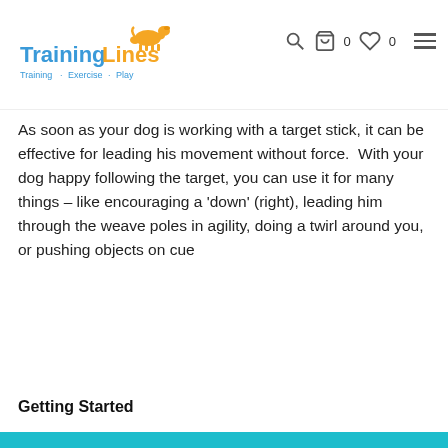Training Lines — Training · Exercise · Play — navigation header with search, cart (0), wishlist (0), and menu icons
As soon as your dog is working with a target stick, it can be effective for leading his movement without force.  With your dog happy following the target, you can use it for many things – like encouraging a 'down' (right), leading him through the weave poles in agility, doing a twirl around you, or pushing objects on cue
Getting Started
We use cookies to better understand how the site is used and give you the best experience. By continuing to use this site, you consent to our Cookie Policy. Click to learn more
Step 1